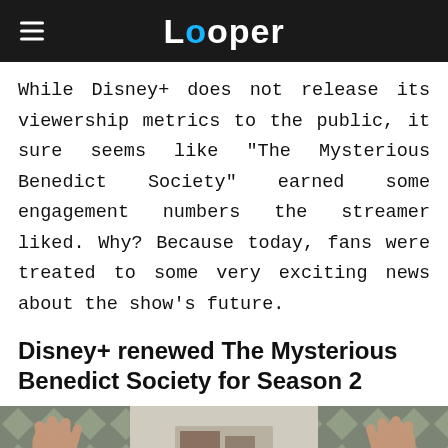Looper
While Disney+ does not release its viewership metrics to the public, it sure seems like "The Mysterious Benedict Society" earned some engagement numbers the streamer liked. Why? Because today, fans were treated to some very exciting news about the show's future.
Disney+ renewed The Mysterious Benedict Society for Season 2
[Figure (photo): A man with curly dark hair and a brown jacket raising both hands up against a tiled bathroom wall background]